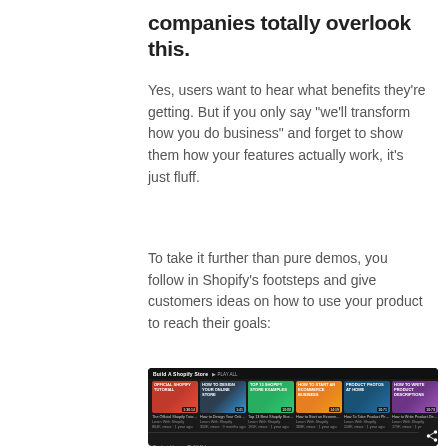companies totally overlook this.
Yes, users want to hear what benefits they’re getting. But if you only say “we’ll transform how you do business” and forget to show them how your features actually work, it’s just fluff.
To take it further than pure demos, you follow in Shopify’s footsteps and give customers ideas on how to use your product to reach their goals:
[Figure (screenshot): Screenshot of a YouTube playlist titled 'Build A Shopify Store' showing multiple tutorial video thumbnails including 'Official Shopify Tutorial', 'How to Design Your Online Store From Scratch', 'Top 13 Best Shopify Store Examples to Inspire You', 'How to Start an Ecommerce Business', 'Product Photos at Home With...', and 'How to Write Product Descriptions That Actually...']